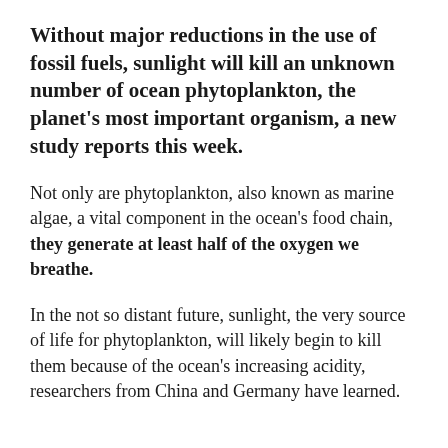Without major reductions in the use of fossil fuels, sunlight will kill an unknown number of ocean phytoplankton, the planet's most important organism, a new study reports this week.
Not only are phytoplankton, also known as marine algae, a vital component in the ocean's food chain, they generate at least half of the oxygen we breathe.
In the not so distant future, sunlight, the very source of life for phytoplankton, will likely begin to kill them because of the ocean's increasing acidity, researchers from China and Germany have learned.